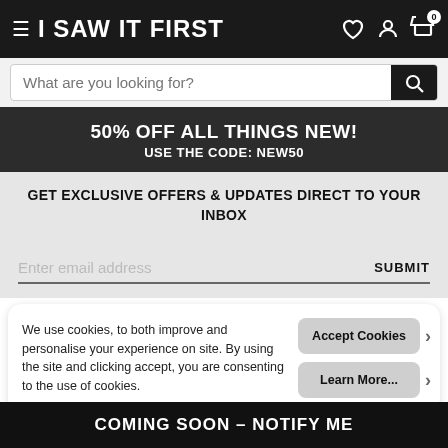I SAW IT FIRST
What are you looking for?
50% OFF ALL THINGS NEW! USE THE CODE: NEW50
GET EXCLUSIVE OFFERS & UPDATES DIRECT TO YOUR INBOX
Enter email address SUBMIT
We use cookies, to both improve and personalise your experience on site. By using the site and clicking accept, you are consenting to the use of cookies.
Accept Cookies
Learn More...
COMING SOON – NOTIFY ME